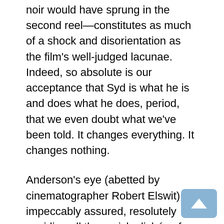noir would have sprung in the second reel—constitutes as much of a shock and disorientation as the film's well-judged lacunae. Indeed, so absolute is our acceptance that Syd is what he is and does what he does, period, that we even doubt what we've been told. It changes everything. It changes nothing.
Anderson's eye (abetted by cinematographer Robert Elswit) is impeccably assured, resolutely avoiding all the garish clichés of Vegas-Reno stories, maintaining a modest, direct clarity in its coverage of the characters' passages, and deploying a supple Steadicam in the interests of fluidity and alertness rather than self-serving display. One moment is exemplary: At the end of Syd and Clementine's late-night talk, an eruption of sudden, ineffectual anger at a nearby table distracts them. The camera pans slightly left of Clementine, racks focus onto the